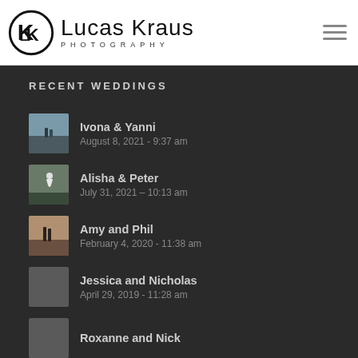[Figure (logo): Lucas Kraus Photography logo with circular LK monogram and text]
RECENT WEDDINGS
Ivona & Yanni
August 8, 2021 - 9:37 am
Alisha & Peter
July 31, 2021 - 10:13 am
Amy and Phil
February 4, 2020 - 11:38 am
Jessica and Nicholas
April 29, 2019 - 11:28 am
Roxanne and Nick